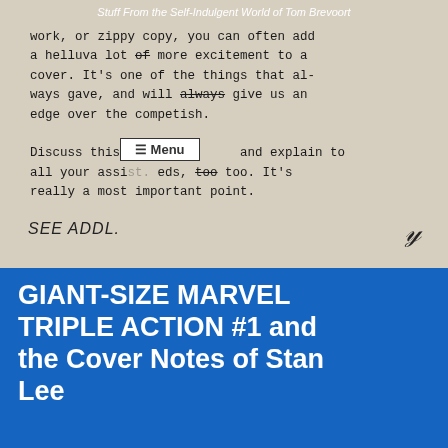Stuff From the Self-Indulgent World of Tom Brevoort
work, or zippy copy, you can often add a helluva lot of more excitement to a cover. It's one of the things that always gave, and will always give us an edge over the competish.

Discuss this with and explain to all your assist. eds, too. It's really a most important point.
SEE ADDL.
GIANT-SIZE MARVEL TRIPLE ACTION #1 and the Cover Notes of Stan Lee